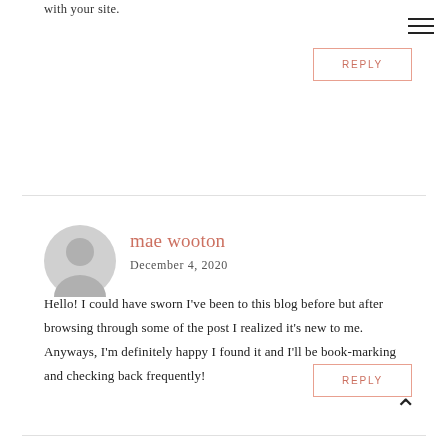with your site.
REPLY
mae wooton
December 4, 2020
Hello! I could have sworn I've been to this blog before but after browsing through some of the post I realized it's new to me. Anyways, I'm definitely happy I found it and I'll be book-marking and checking back frequently!
REPLY